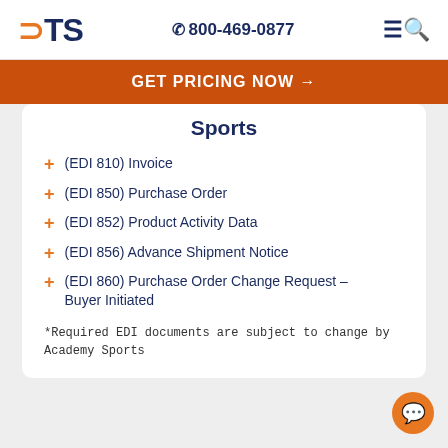DTS  800-469-0877
GET PRICING NOW →
Sports
(EDI 810) Invoice
(EDI 850) Purchase Order
(EDI 852) Product Activity Data
(EDI 856) Advance Shipment Notice
(EDI 860) Purchase Order Change Request – Buyer Initiated
*Required EDI documents are subject to change by Academy Sports